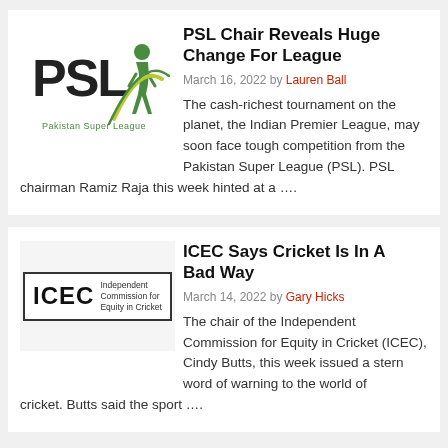[Figure (logo): Pakistan Super League (PSL) logo with green and yellow figure and circular arc]
PSL Chair Reveals Huge Change For League
March 16, 2022 by Lauren Ball
The cash-richest tournament on the planet, the Indian Premier League, may soon face tough competition from the Pakistan Super League (PSL). PSL chairman Ramiz Raja this week hinted at a ....
[Figure (logo): ICEC - Independent Commission for Equity in Cricket logo in a bordered box]
ICEC Says Cricket Is In A Bad Way
March 14, 2022 by Gary Hicks
The chair of the Independent Commission for Equity in Cricket (ICEC), Cindy Butts, this week issued a stern word of warning to the world of cricket. Butts said the sport ....